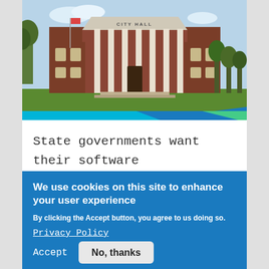[Figure (photo): Photograph of a City Hall building — a red-brick neoclassical structure with white columns and steps, green lawn in front, trees on both sides, and a colorful diagonal stripe (teal/blue/green) at the bottom of the image.]
State governments want their software to be secure, compliant and designed
We use cookies on this site to enhance your user experience
By clicking the Accept button, you agree to us doing so.
Privacy Policy
Accept
No, thanks